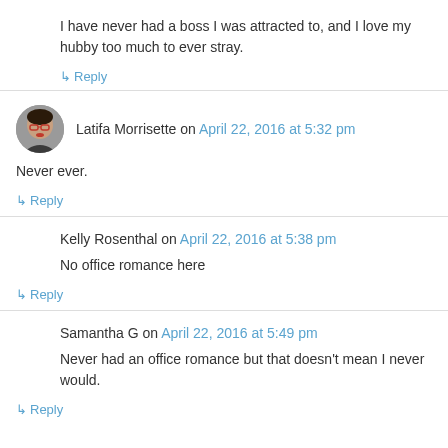I have never had a boss I was attracted to, and I love my hubby too much to ever stray.
↳ Reply
Latifa Morrisette on April 22, 2016 at 5:32 pm
Never ever.
↳ Reply
Kelly Rosenthal on April 22, 2016 at 5:38 pm
No office romance here
↳ Reply
Samantha G on April 22, 2016 at 5:49 pm
Never had an office romance but that doesn't mean I never would.
↳ Reply